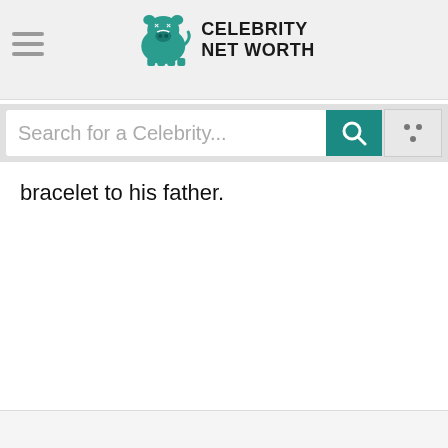Celebrity Net Worth
Search for a Celebrity...
bracelet to his father.